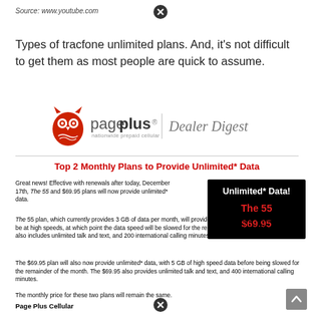Source: www.youtube.com
Types of tracfone unlimited plans. And, it's not difficult to get them as most people are quick to assume.
[Figure (logo): Page Plus Cellular logo with owl icon and 'pageplus nationwide prepaid cellular' text, followed by vertical bar and 'Dealer Digest' in italic serif font]
Top 2 Monthly Plans to Provide Unlimited* Data
Great news! Effective with renewals after today, December 17th, The 55 and $69.95 plans will now provide unlimited* data.
[Figure (infographic): Black box ad: 'Unlimited* Data!' in white bold, 'The 55' in red bold, '$69.95' in red bold]
The 55 plan, which currently provides 3 GB of data per month, will provide unlimited* data. The first 3 GB will be at high speeds, at which point the data speed will be slowed for the remainder of the monthly plan. The 55 also includes unlimited talk and text, and 200 international calling minutes for $55 per month.
The $69.95 plan will also now provide unlimited* data, with 5 GB of high speed data before being slowed for the remainder of the month. The $69.95 also provides unlimited talk and text, and 400 international calling minutes.
The monthly price for these two plans will remain the same.
Page Plus Cellular